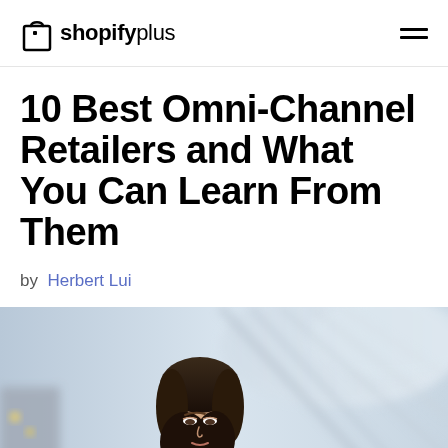shopify plus
10 Best Omni-Channel Retailers and What You Can Learn From Them
by Herbert Lui
[Figure (photo): A woman with long dark hair, looking down at something, standing in a large modern building with architectural glass ceiling and arched structures in the background. Blurred background suggests an airport or transit station.]